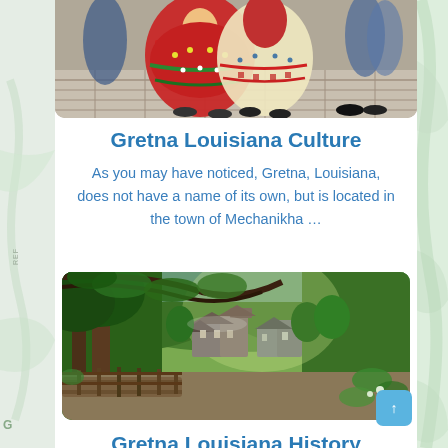[Figure (photo): Women in traditional red and white folk costumes (dresses with colorful embroidery) at an outdoor cultural event on a stone pavement]
Gretna Louisiana Culture
As you may have noticed, Gretna, Louisiana, does not have a name of its own, but is located in the town of Mechanikha …
[Figure (photo): A lush green forested mountain village with stone buildings, a wooden bridge/walkway in the foreground, trees with overhanging branches, sunlight through the canopy]
Gretna Louisiana History